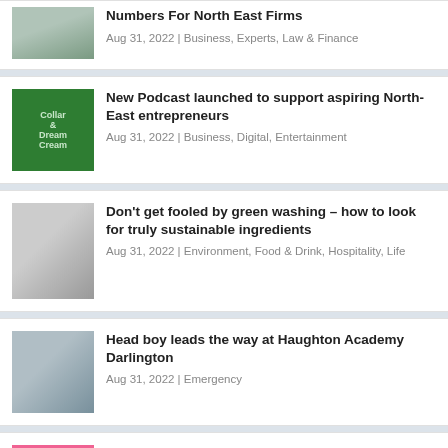Numbers For North East Firms
Aug 31, 2022 | Business, Experts, Law & Finance
New Podcast launched to support aspiring North-East entrepreneurs
Aug 31, 2022 | Business, Digital, Entertainment
Don’t get fooled by green washing – how to look for truly sustainable ingredients
Aug 31, 2022 | Environment, Food & Drink, Hospitality, Life
Head boy leads the way at Haughton Academy Darlington
Aug 31, 2022 | Emergency
YOUR CHANCE TO PLAY ‘BELLE’ IN BEAUTY AND THE BEAST ALONGSIDE AMELLE BERRABAH FROM SUGABABES IN THIS YEAR’S PANTO AT TYNE THEATRE & OPERA HOUSE
Aug 31, 2022 | Arts and Culture